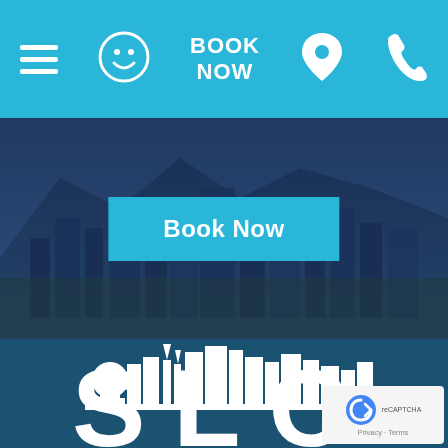BOOK NOW (navigation bar with menu, smiley, book now, location, phone icons)
[Figure (screenshot): Hero section with city skyline/mountain background photo overlaid with dark blue tint and a 'Book Now' button]
[Figure (logo): White city skyline silhouette logo on dark teal/blue background with large 'SLC' letters below]
[Figure (other): reCAPTCHA privacy badge in bottom right corner with Privacy and Terms links]